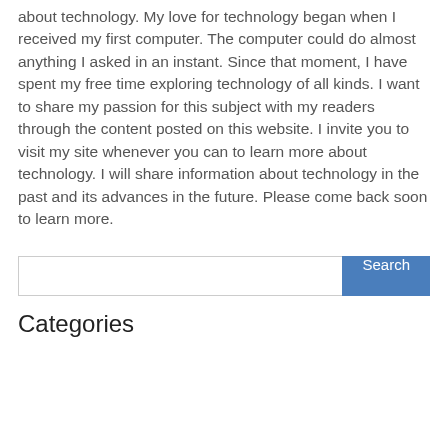about technology. My love for technology began when I received my first computer. The computer could do almost anything I asked in an instant. Since that moment, I have spent my free time exploring technology of all kinds. I want to share my passion for this subject with my readers through the content posted on this website. I invite you to visit my site whenever you can to learn more about technology. I will share information about technology in the past and its advances in the future. Please come back soon to learn more.
[Figure (other): Search input field with a blue Search button on the right]
Categories
|  |
| blog |
| technology |